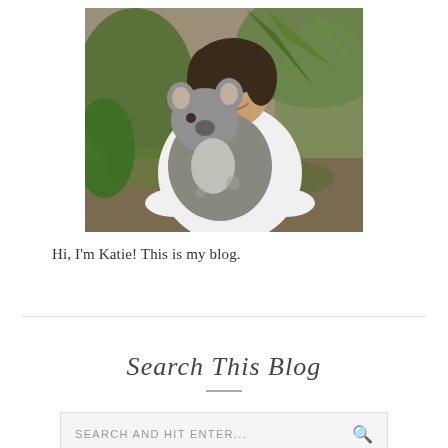[Figure (photo): A smiling woman holding a koala bear, surrounded by tropical foliage including palm fronds. She is wearing a white t-shirt and a purple item is visible. The setting appears to be an outdoor wildlife encounter.]
Hi, I'm Katie! This is my blog.
Search This Blog